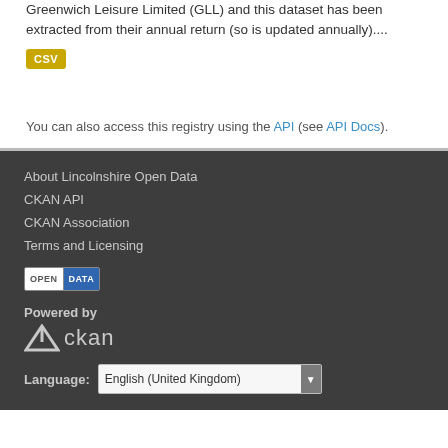Greenwich Leisure Limited (GLL) and this dataset has been extracted from their annual return (so is updated annually)....
CSV
You can also access this registry using the API (see API Docs).
About Lincolnshire Open Data
CKAN API
CKAN Association
Terms and Licensing
[Figure (logo): Open Data badge with white OPEN text and blue DATA text on dark background]
Powered by
[Figure (logo): CKAN logo with arrow icon and ckan text]
Language: English (United Kingdom)